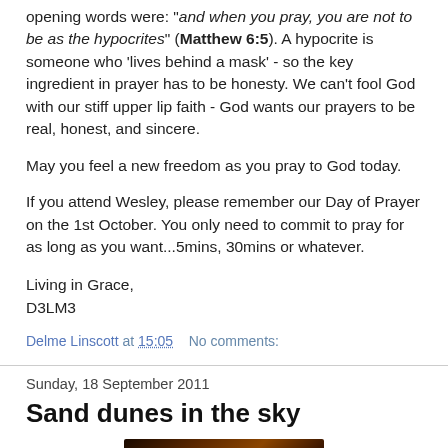opening words were: "and when you pray, you are not to be as the hypocrites" (Matthew 6:5). A hypocrite is someone who 'lives behind a mask' - so the key ingredient in prayer has to be honesty. We can't fool God with our stiff upper lip faith - God wants our prayers to be real, honest, and sincere.
May you feel a new freedom as you pray to God today.
If you attend Wesley, please remember our Day of Prayer on the 1st October. You only need to commit to pray for as long as you want...5mins, 30mins or whatever.
Living in Grace,
D3LM3
Delme Linscott at 15:05   No comments:
Sunday, 18 September 2011
Sand dunes in the sky
[Figure (photo): Dark reddish-brown landscape photo, possibly sand dunes or landscape at dusk/dawn]